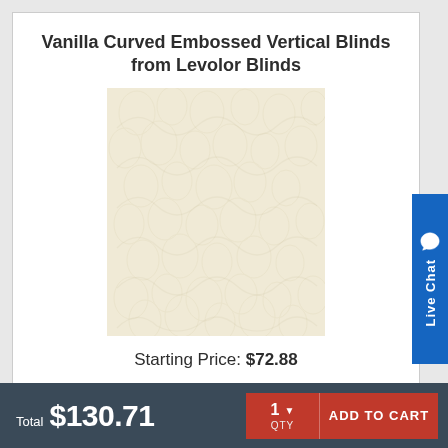Vanilla Curved Embossed Vertical Blinds from Levolor Blinds
[Figure (photo): Close-up photo of a vanilla/cream colored textured fabric sample with embossed floral/curved pattern, used for vertical blinds.]
Starting Price: $72.88
Total $130.71
1 QTY  ADD TO CART